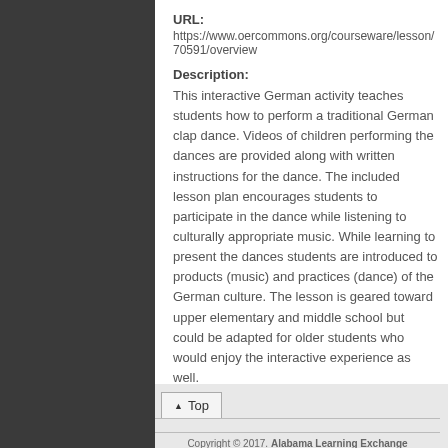URL:
https://www.oercommons.org/courseware/lesson/70591/overview
Description:
This interactive German activity teaches students how to perform a traditional German clap dance. Videos of children performing the dances are provided along with written instructions for the dance. The included lesson plan encourages students to participate in the dance while listening to culturally appropriate music. While learning to present the dances students are introduced to products (music) and practices (dance) of the German culture. The lesson is geared toward upper elementary and middle school but could be adapted for older students who would enjoy the interactive experience as well.
ALEX Classroom Resources: 1
▲ Top
Copyright © 2017. Alabama Learning Exchange